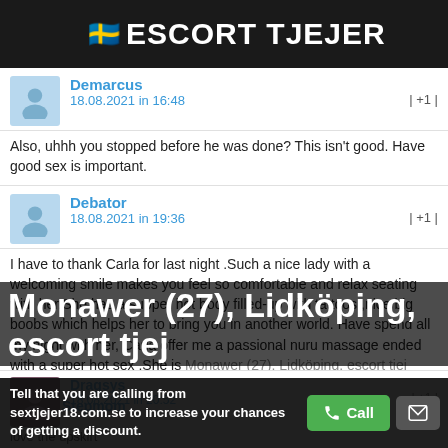ESCORT TJEJER
Demarcus
18.08.2021 in 16:48 | +1 |
Also, uhhh you stopped before he was done? This isn't good. Have good sex is important.
Debator
18.08.2021 in 19:36 | +1 |
I have to thank Carla for last night .Such a nice lady with a welcoming smile makes you feel so comfortable and relax seating with her.She has a supper hot body filled-up with tattoos ,nice big boobs which helps her to bring you in another world. Have spend all my night with her, Carla offer me a passional nuru massage ended with a super hot sex ,She is ...what she is doing. To visit you again soon
Dragsys
18.08.2021 in 20:52 | +1 |
love the upskirt
Stepmom
Monawer (27), Lidköping, escort tjej
Tell that you are calling from sextjejer18.com.se to increase your chances of getting a discount.